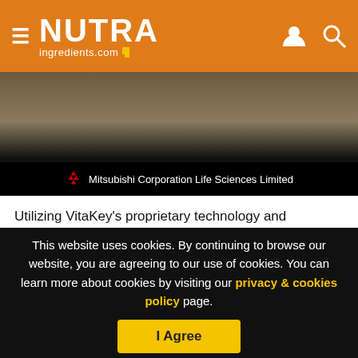NUTRAingredients.com
[Figure (logo): Mitsubishi Corporation Life Sciences Limited banner on dark background]
Utilizing VitaKey's proprietary technology and customized solutions, Fonterra said it is looking to design dairy products that incorporate targeted and time-controlled release of specific dairy nutrients, starting with probiotics, in a way that locks in the freshness for longer and allows the nutrients to be more active and beneficial in the body.
This website uses cookies. By continuing to browse our website, you are agreeing to our use of cookies. You can learn more about cookies by visiting our privacy & cookies policy page.